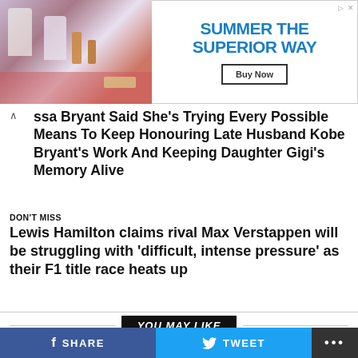[Figure (photo): Advertisement banner: photo of people at a table on left, text 'SUMMER THE SUPERIOR WAY' with 'Buy Now' button on right]
ssa Bryant Said She's Trying Every Possible Means To Keep Honouring Late Husband Kobe Bryant's Work And Keeping Daughter Gigi's Memory Alive
DON'T MISS
Lewis Hamilton claims rival Max Verstappen will be struggling with 'difficult, intense pressure' as their F1 title race heats up
YOU MAY LIKE
[Figure (photo): Photo of Naomi Osaka wearing a mask, in athletic wear, wind blowing her hair]
Exclusive Story About Naomi Osaka: How She Became the People's Champion
[Figure (photo): Partial thumbnail image at bottom]
UPDATE: Naomi Osaka latest WTA Ranking...
SHARE   TWEET   ...